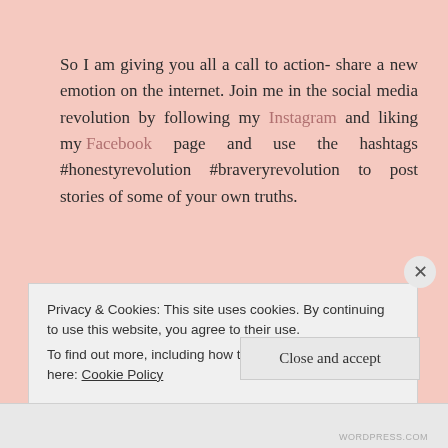So I am giving you all a call to action- share a new emotion on the internet. Join me in the social media revolution by following my Instagram and liking my Facebook page and use the hashtags #honestyrevolution #braveryrevolution to post stories of some of your own truths.
xxoo
A[wo]men
Privacy & Cookies: This site uses cookies. By continuing to use this website, you agree to their use.
To find out more, including how to control cookies, see here: Cookie Policy
Close and accept